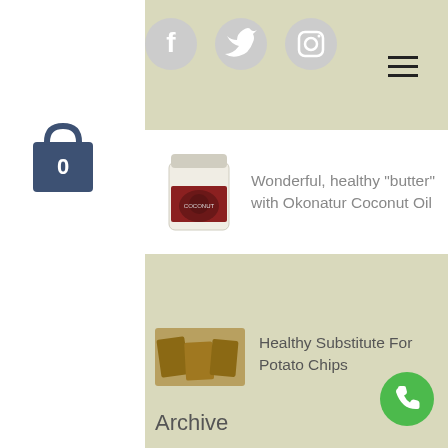[Figure (screenshot): Website sidebar and main content area showing a health food blog. White left sidebar with shopping cart icon (0 items). Beige/cream main area with social media icons (Facebook, Twitter, Instagram), a hamburger menu, and blog post thumbnails. A dropdown overlay shows 'Wonderful, healthy "butter" with Okonatur Coconut Oil'. Below, a post for 'Healthy Substitute For Potato Chips'. Archive section with June 2019 (1), March 2017 (1), September 2016 (4). Green phone button at bottom right.]